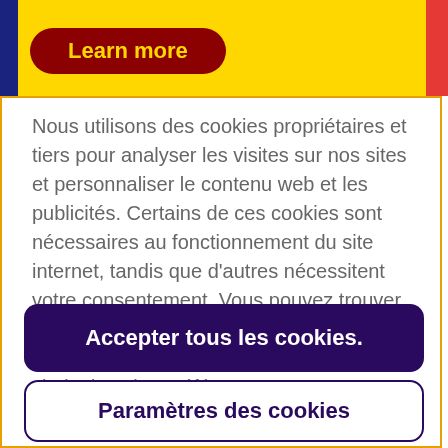[Figure (screenshot): Yellow top bar with dark blue left stripe, red right stripe, and a dark red rounded 'Learn more' button with yellow text]
Nous utilisons des cookies propriétaires et tiers pour analyser les visites sur nos sites et personnaliser le contenu web et les publicités. Certains de ces cookies sont nécessaires au fonctionnement du site internet, tandis que d'autres nécessitent votre consentement. Vous pouvez trouver plus de détails concernant notre politique en matière de cookies et personnaliser vos choix dans les préférences.
Accepter tous les cookies.
Paramètres des cookies